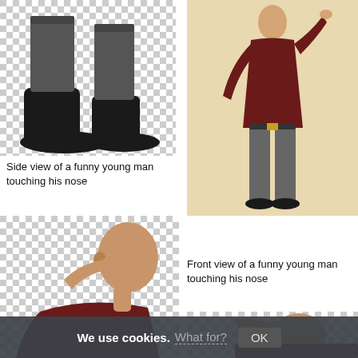[Figure (photo): Close-up of dark boots/shoes and lower legs of a person wearing grey jeans, on a transparent (checkerboard) background]
[Figure (photo): Full body front view of a young man in dark red sweater and grey skinny jeans with gold belt, raising one hand to head, on a beige background]
Side view of a funny young man touching his nose
[Figure (photo): Side view of a young man with shaved head wearing dark red sweater, touching/pinching his nose with one hand, on transparent (checkerboard) background]
Front view of a funny young man touching his nose
[Figure (photo): Front view of a person with shaved head wearing dark red sweater, touching nose with hand raised, tilting head back, on transparent (checkerboard) background]
We use cookies. What for? OK